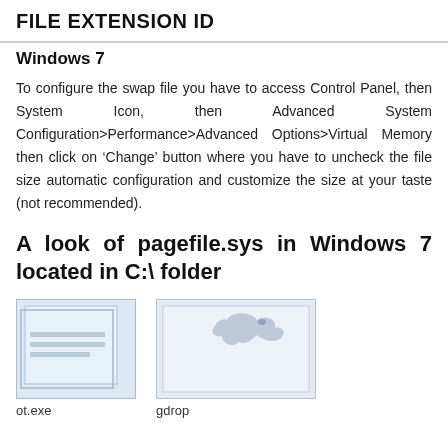FILE EXTENSION ID
Windows 7
To configure the swap file you have to access Control Panel, then System Icon, then Advanced System Configuration>Performance>Advanced Options>Virtual Memory then click on ‘Change’ button where you have to uncheck the file size automatic configuration and customize the size at your taste (not recommended).
A look of pagefile.sys in Windows 7 located in C:\ folder
[Figure (screenshot): Screenshot of a document file icon (pagefile.sys) in Windows 7 file explorer]
[Figure (screenshot): Screenshot of gdrop icon in Windows 7 file explorer]
ot.exe
gdrop